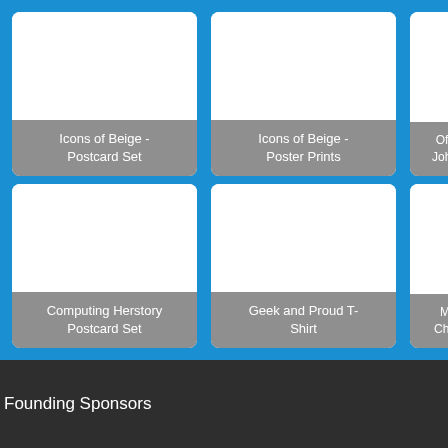[Figure (screenshot): Grid of product cards on blue background. Top row: 'Icons of Beige - Postcard Set', 'Icons of Beige - Poster Prints', partially visible third card 'Offi... John...'. Bottom row: 'Computing Herstory Postcard Set', 'Geek and Proud T-Shirt', partially visible third card 'M... Che...'.]
Founding Sponsors